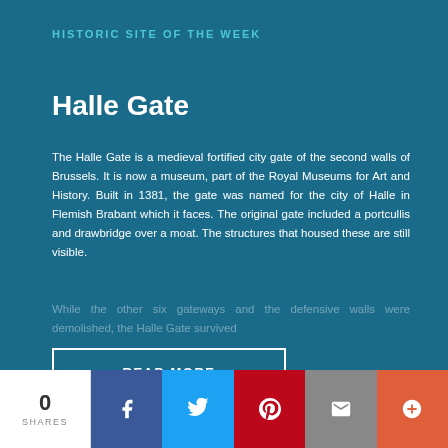HISTORIC SITE OF THE WEEK
Halle Gate
The Halle Gate is a medieval fortified city gate of the second walls of Brussels. It is now a museum, part of the Royal Museums for Art and History. Built in 1381, the gate was named for the city of Halle in Flemish Brabant which it faces. The original gate included a portcullis and drawbridge over a moat. The structures that housed these are still visible.
While the other six gateways and the defensive walls were demolished, the Halle Gate survived
READ MORE
0 SHARES